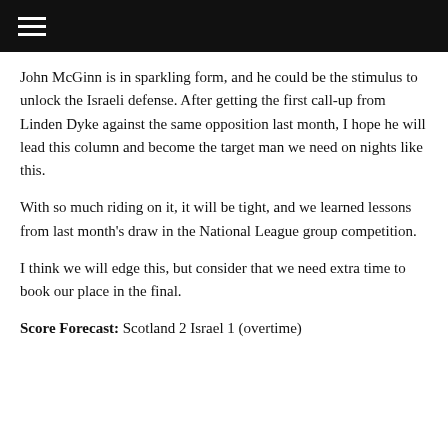John McGinn is in sparkling form, and he could be the stimulus to unlock the Israeli defense. After getting the first call-up from Linden Dyke against the same opposition last month, I hope he will lead this column and become the target man we need on nights like this.
With so much riding on it, it will be tight, and we learned lessons from last month’s draw in the National League group competition.
I think we will edge this, but consider that we need extra time to book our place in the final.
Score Forecast: Scotland 2 Israel 1 (overtime)